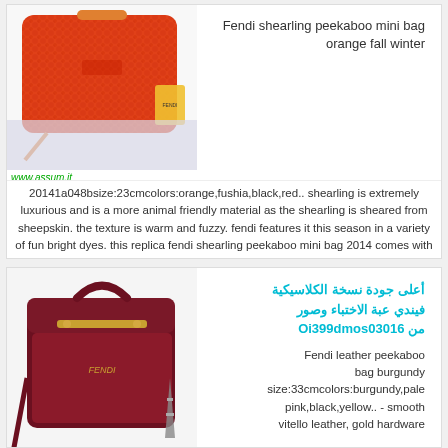[Figure (photo): Red/orange shearling Fendi peekaboo mini bag with orange leather strap, shown with tags and dust bag]
www.assum.it
Fendi shearling peekaboo mini bag orange fall winter
20141a048bsize:23cmcolors:orange,fushia,black,red.. shearling is extremely luxurious and is a more animal friendly material as the shearling is sheared from sheepskin. the texture is warm and fuzzy. fendi features it this season in a variety of fun bright dyes. this replica fendi shearling peekaboo mini bag 2014 comes with serial numbers, fendi authenticity card, fendi dust bag and fendi ....care booklet
[Figure (photo): Burgundy Fendi leather peekaboo bag with gold hardware, shown with Eiffel Tower figurine]
أعلى جودة نسخة الكلاسيكية فيندي عبة الاختباء وصور من Oi399dmos03016
Fendi leather peekaboo bag burgundy size:33cmcolors:burgundy,pale pink,black,yellow.. - smooth vitello leather, gold hardware